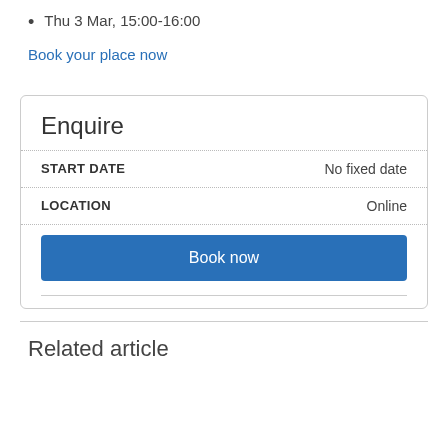Thu 3 Mar, 15:00-16:00
Book your place now
| Field | Value |
| --- | --- |
| START DATE | No fixed date |
| LOCATION | Online |
Book now
Related article